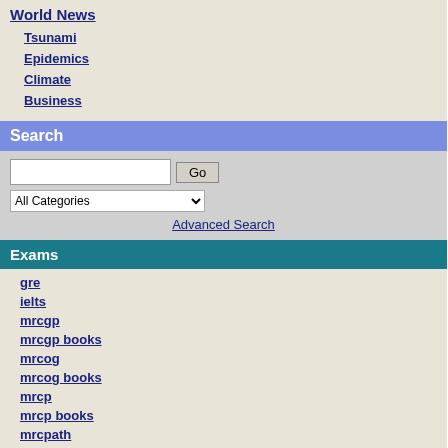World News
Tsunami
Epidemics
Climate
Business
Search
Exams
gre
ielts
mrcgp
mrcgp books
mrcog
mrcog books
mrcp
mrcp books
mrcpath
mrcpch
mrcpch books